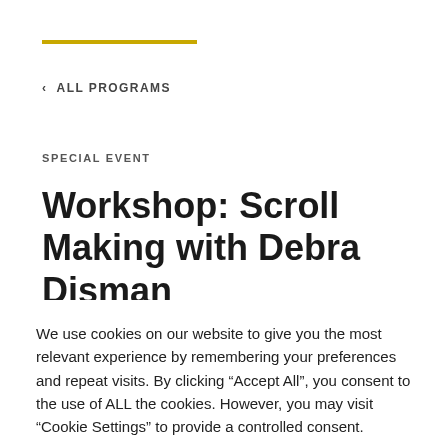< ALL PROGRAMS
SPECIAL EVENT
Workshop: Scroll Making with Debra Disman
We use cookies on our website to give you the most relevant experience by remembering your preferences and repeat visits. By clicking "Accept All", you consent to the use of ALL the cookies. However, you may visit "Cookie Settings" to provide a controlled consent.
Cookie Settings | Accept All